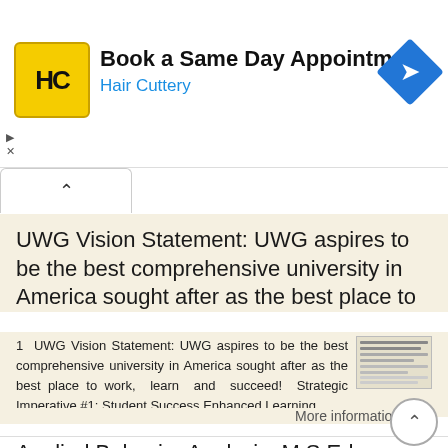[Figure (screenshot): Hair Cuttery advertisement banner: yellow logo with HC initials, text 'Book a Same Day Appointment' and 'Hair Cuttery' in blue, blue diamond navigation icon on right]
Book a Same Day Appointment
Hair Cuttery
UWG Vision Statement: UWG aspires to be the best comprehensive university in America sought after as the best place to
1 UWG Vision Statement: UWG aspires to be the best comprehensive university in America sought after as the best place to work, learn and succeed! Strategic Imperative #1: Student Success Enhanced Learning,
More information ➔
Applied Behavior Analysis, M.S.Ed.
Applied Behavior Analysis, M.S.Ed. 1 Applied